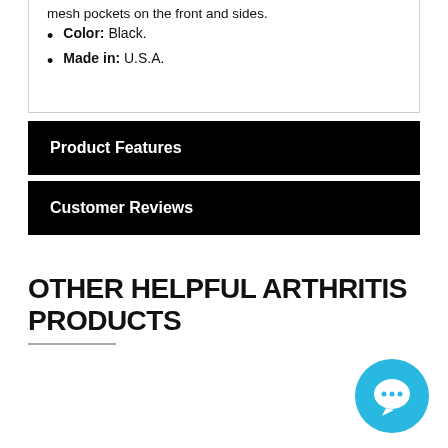mesh pockets on the front and sides.
Color: Black.
Made in: U.S.A.
Product Features
Customer Reviews
OTHER HELPFUL ARTHRITIS PRODUCTS
[Figure (other): Chat widget icon — cyan circle with white speech bubble / messaging icon]